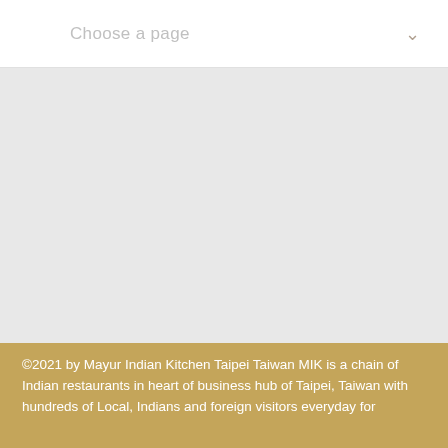Choose a page
[Figure (other): Gray empty content area placeholder]
©2021 by Mayur Indian Kitchen Taipei Taiwan MIK is a chain of Indian restaurants in heart of business hub of Taipei, Taiwan with hundreds of Local, Indians and foreign visitors everyday for